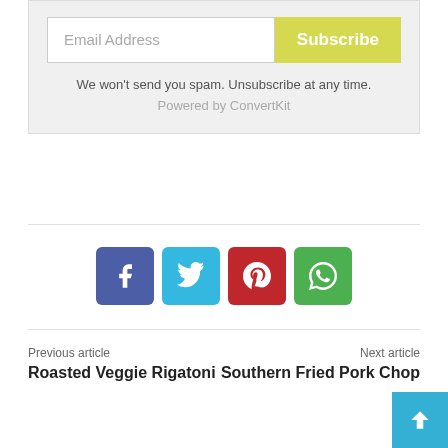Email Address
Subscribe
We won't send you spam. Unsubscribe at any time.
Powered by ConvertKit
[Figure (infographic): Social share buttons: Facebook (blue), Twitter (light blue), Pinterest (red), WhatsApp (green)]
Previous article
Next article
Roasted Veggie Rigatoni
Southern Fried Pork Chop